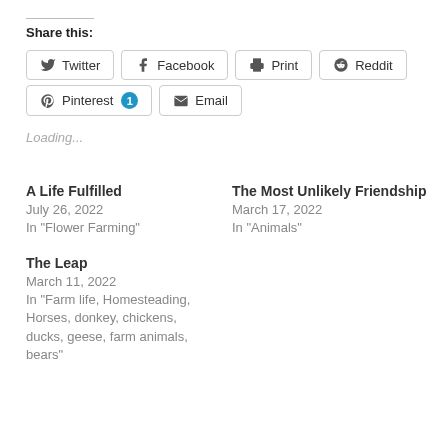Share this:
Twitter  Facebook  Print  Reddit  Pinterest 1  Email
Loading...
A Life Fulfilled
July 26, 2022
In "Flower Farming"
The Most Unlikely Friendship
March 17, 2022
In "Animals"
The Leap
March 11, 2022
In "Farm life, Homesteading, Horses, donkey, chickens, ducks, geese, farm animals, bears"